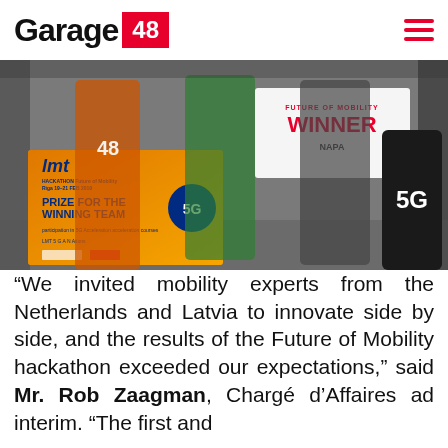Garage 48
[Figure (photo): Three people holding signs at a hackathon event. One person in an orange shirt with '48', one in green, one in a suit. Signs read 'LMT PRIZE FOR THE WINNING TEAM 5G' and 'FUTURE OF MOBILITY WINNER NAPA'. A barrel with '5G' is in the background.]
“We invited mobility experts from the Netherlands and Latvia to innovate side by side, and the results of the Future of Mobility hackathon exceeded our expectations,” said Mr. Rob Zaagman, Chargé d’Affaires ad interim. “The first and